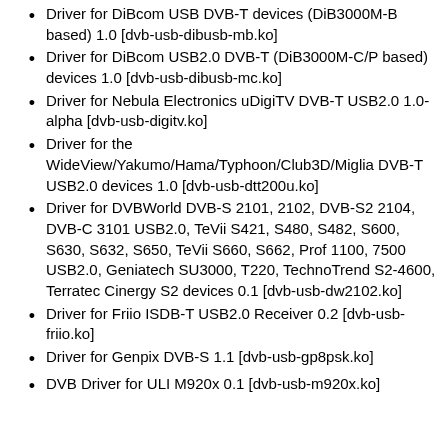Driver for DiBcom USB DVB-T devices (DiB3000M-B based) 1.0 [dvb-usb-dibusb-mb.ko]
Driver for DiBcom USB2.0 DVB-T (DiB3000M-C/P based) devices 1.0 [dvb-usb-dibusb-mc.ko]
Driver for Nebula Electronics uDigiTV DVB-T USB2.0 1.0-alpha [dvb-usb-digitv.ko]
Driver for the WideView/Yakumo/Hama/Typhoon/Club3D/Miglia DVB-T USB2.0 devices 1.0 [dvb-usb-dtt200u.ko]
Driver for DVBWorld DVB-S 2101, 2102, DVB-S2 2104, DVB-C 3101 USB2.0, TeVii S421, S480, S482, S600, S630, S632, S650, TeVii S660, S662, Prof 1100, 7500 USB2.0, Geniatech SU3000, T220, TechnoTrend S2-4600, Terratec Cinergy S2 devices 0.1 [dvb-usb-dw2102.ko]
Driver for Friio ISDB-T USB2.0 Receiver 0.2 [dvb-usb-friio.ko]
Driver for Genpix DVB-S 1.1 [dvb-usb-gp8psk.ko]
DVB Driver for ULI M920x 0.1 [dvb-usb-m920x.ko]